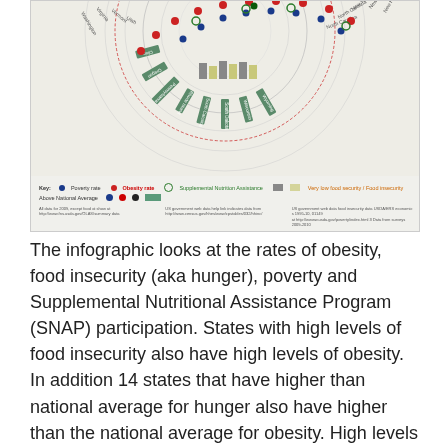[Figure (infographic): A radial/circular infographic showing US states arranged around concentric rings, plotting poverty rate (blue dots), obesity rate (red dots), Supplemental Nutrition Assistance (green rings), and very low food security/food insecurity (gray and yellow bars). A legend at the bottom identifies each data series. State names are printed radially around the circle. Below the chart are three footnote columns with data source URLs.]
The infographic looks at the rates of obesity, food insecurity (aka hunger), poverty and Supplemental Nutritional Assistance Program (SNAP) participation. States with high levels of food insecurity also have high levels of obesity. In addition 14 states that have higher than national average for hunger also have higher than the national average for obesity. High levels of SNAP participation does not seem to prevent high levels of obesity and hunger.